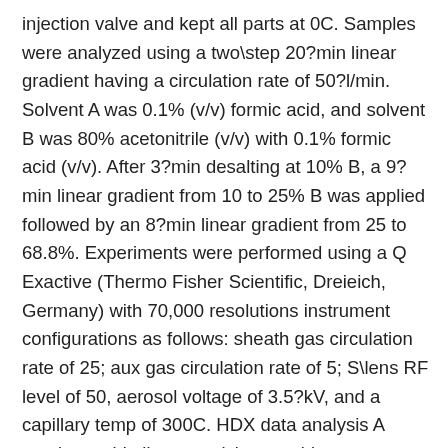injection valve and kept all parts at 0C. Samples were analyzed using a two\step 20?min linear gradient having a circulation rate of 50?l/min. Solvent A was 0.1% (v/v) formic acid, and solvent B was 80% acetonitrile (v/v) with 0.1% formic acid (v/v). After 3?min desalting at 10% B, a 9?min linear gradient from 10 to 25% B was applied followed by an 8?min linear gradient from 25 to 68.8%. Experiments were performed using a Q Exactive (Thermo Fisher Scientific, Dreieich, Germany) with 70,000 resolutions instrument configurations as follows: sheath gas circulation rate of 25; aux gas circulation rate of 5; S\lens RF level of 50, aerosol voltage of 3.5?kV, and a capillary temp of 300C. HDX data analysis A peptic peptide list comprising peptide sequence, retention time, and charge state was generated in a preliminary